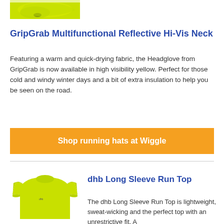[Figure (photo): Yellow-green GripGrab hi-vis neckwarmer/headglove product photo, cropped at top]
GripGrab Multifunctional Reflective Hi-Vis Neck
Featuring a warm and quick-drying fabric, the Headglove from GripGrab is now available in high visibility yellow. Perfect for those cold and windy winter days and a bit of extra insulation to help you be seen on the road.
[Figure (other): Orange call-to-action button: Shop running hats at Wiggle]
[Figure (photo): Yellow-green dhb long sleeve run top product photo]
dhb Long Sleeve Run Top
The dhb Long Sleeve Run Top is lightweight, sweat-wicking and the perfect top with an unrestrictive fit. A